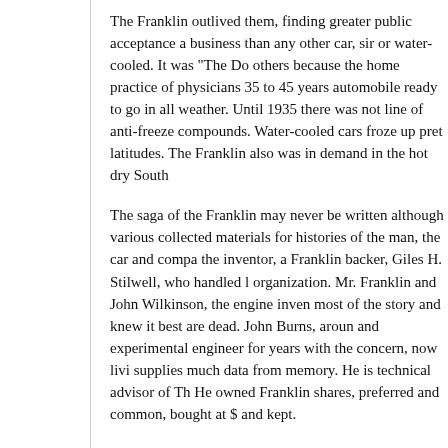The Franklin outlived them, finding greater public acceptance a business than any other car, sir or water-cooled. It was "The Do others because the home practice of physicians 35 to 45 years automobile ready to go in all weather. Until 1935 there was not line of anti-freeze compounds. Water-cooled cars froze up pret latitudes. The Franklin also was in demand in the hot dry South
The saga of the Franklin may never be written although various collected materials for histories of the man, the car and compa the inventor, a Franklin backer, Giles H. Stilwell, who handled l organization. Mr. Franklin and John Wilkinson, the engine inven most of the story and knew it best are dead. John Burns, aroun and experimental engineer for years with the concern, now livi supplies much data from memory. He is technical advisor of Th He owned Franklin shares, preferred and common, bought at $ and kept.
He cites air-cooled cars: The Holmes, Canton, OH, backed by Springfield, Mass.; the Fox, Philadelphia; the Metz, Walton, Ma Indianapolis, and the Frayer-Miller, Springfield, 0H, one of the b remembers the first Pierce-Arrow he saw, with a DeDion air-co the rear axle. It was built into a Stanhope body from Buffalo. Sy the Chase built by Aurin Chase, in West St., the Century in E. V Steamer, the Moyer built in the present Porter-Cable plant, the in the West End, the Brown of Alexander T. Brown and the Julia by his son Julian, the Sanford fire truck, the Moore truck are so some with air-cooled power plants. The Neracar, built at the pre plant, was an early three-wheeler. After the Franklin went, Ca